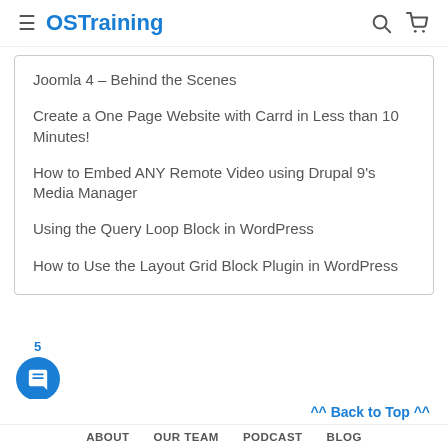OSTraining
Joomla 4 – Behind the Scenes
Create a One Page Website with Carrd in Less than 10 Minutes!
How to Embed ANY Remote Video using Drupal 9's Media Manager
Using the Query Loop Block in WordPress
How to Use the Layout Grid Block Plugin in WordPress
^^ Back to Top ^^ | ABOUT | OUR TEAM | PODCAST | BLOG